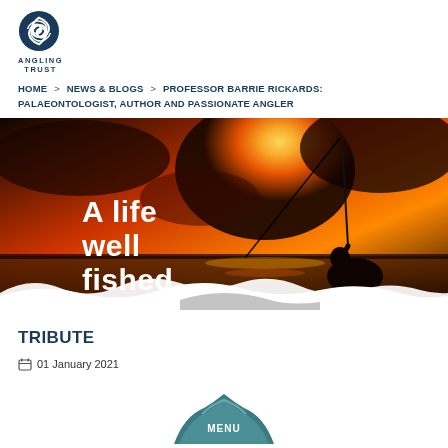[Figure (logo): Angling Trust logo with swirling fish icon and text ANGLING TRUST]
HOME > NEWS & BLOGS > PROFESSOR BARRIE RICKARDS: PALAEONTOLOGIST, AUTHOR AND PASSIONATE ANGLER
[Figure (photo): Silhouette of an angler fishing at sunset with dramatic orange and red sky over water. White text overlay reads 'A life well fished'. White wave decoration at bottom.]
TRIBUTE
01 January 2021